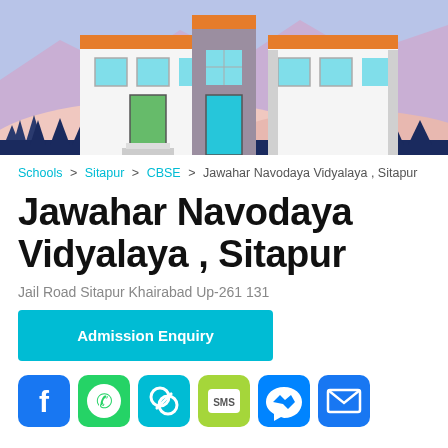[Figure (illustration): Cartoon/illustrated school building with colorful facade, orange roof accents, blue sky background with mountains and pine trees, pink snowy hills]
Schools > Sitapur > CBSE > Jawahar Navodaya Vidyalaya , Sitapur
Jawahar Navodaya Vidyalaya , Sitapur
Jail Road Sitapur Khairabad Up-261 131
Admission Enquiry
[Figure (infographic): Row of social media icon buttons: Facebook (blue), WhatsApp (green), Share/chain (teal), SMS (light green), Messenger (blue), Email/envelope (blue)]